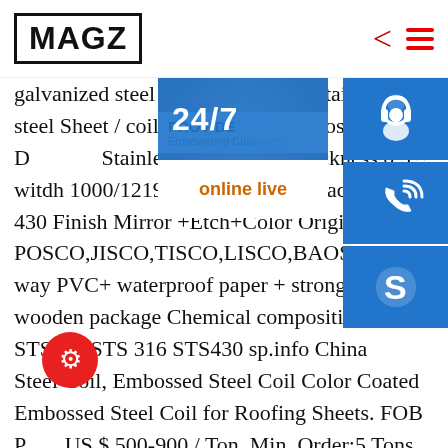MAGZ
galvanized steel Type Embossing Stainless Steel Sheet / coil / Plate Name Embossed Diamond Stainless Steel Sheet Thickness 0.3 ~ widh 1000/1219/1300 (mm) SS Grade 430 Finish Mirror +Etch+Color Origin POSCO,JISCO,TISCO,LISCO,BAOSTEEL way PVC+ waterproof paper + strong wooden package Chemical composition STS304 STS 316 STS430 sp.info China Steel Coil, Embossed Steel Coil Color Coated Embossed Steel Coil for Roofing Sheets. FOB Price US $ 500-900 / Ton. Min. Order:5 Tons. Standard:ASTM, JIS, GB, AISI, DIN, BS. Certification:ISO, RoHS, IBR, Surface
[Figure (screenshot): Customer service overlay panel on the right side showing: a 24/7 badge in blue, a customer service representative photo, three blue icon buttons (headset/support, phone/call, Skype), a PROVIDE Empowering Customers banner, and an 'online live' button in orange text.]